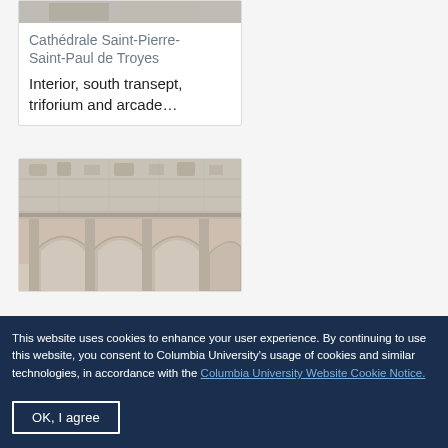[Figure (photo): Top portion of a photograph showing architectural details of Cathédrale Saint-Pierre-Saint-Paul de Troyes, partially cropped at top]
Cathédrale Saint-Pierre-Saint-Paul de Troyes
Interior, south transept, triforium and arcade...
[Figure (photo): Photograph of cathedral interior showing stone arcade arches with Gothic triforium details, weathered stone surface]
This website uses cookies to enhance your user experience. By continuing to use this website, you consent to Columbia University's usage of cookies and similar technologies, in accordance with the Columbia University Website Cookie Notice.
OK, I agree